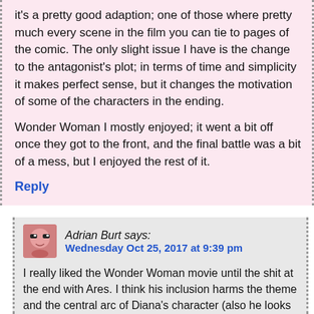it's a pretty good adaption; one of those where pretty much every scene in the film you can tie to pages of the comic. The only slight issue I have is the change to the antagonist's plot; in terms of time and simplicity it makes perfect sense, but it changes the motivation of some of the characters in the ending.
Wonder Woman I mostly enjoyed; it went a bit off once they got to the front, and the final battle was a bit of a mess, but I enjoyed the rest of it.
Reply
Adrian Burt says: Wednesday Oct 25, 2017 at 9:39 pm
I really liked the Wonder Woman movie until the shit at the end with Ares. I think his inclusion harms the theme and the central arc of Diana's character (also he looks